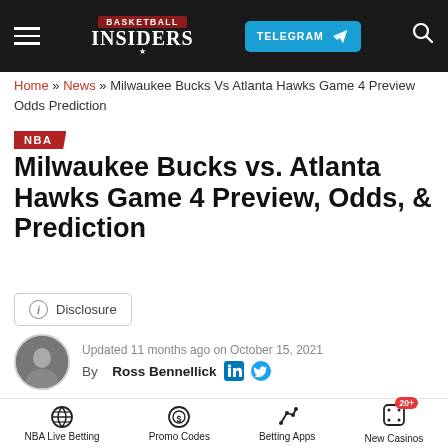Basketball Insiders — TELEGRAM — Search
Home » News » Milwaukee Bucks Vs Atlanta Hawks Game 4 Preview Odds Prediction
NBA
Milwaukee Bucks vs. Atlanta Hawks Game 4 Preview, Odds, & Prediction
ⓘ Disclosure
Updated 11 months ago on October 15, 2021
By Ross Bennellick
[Figure (photo): Partial photo of a basketball player, cropped at bottom of article header area]
NBA Live Betting  Promo Codes  Betting Apps  New Casinos 20+